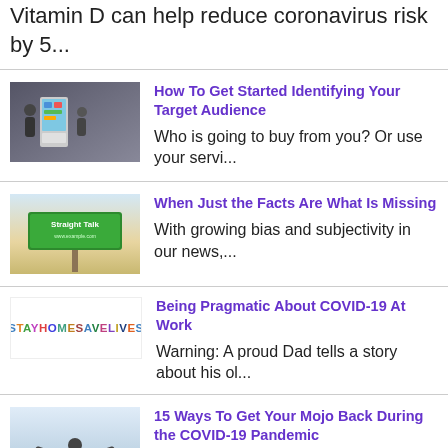Vitamin D can help reduce coronavirus risk by 5...
[Figure (illustration): Thumbnail image for article about identifying target audience - people at kiosk]
How To Get Started Identifying Your Target Audience
Who is going to buy from you? Or use your servi...
[Figure (photo): Thumbnail showing a green road sign reading Straight Talk]
When Just the Facts Are What Is Missing
With growing bias and subjectivity in our news,...
[Figure (logo): StayHomeSaveLives colorful text logo]
Being Pragmatic About COVID-19 At Work
Warning: A proud Dad tells a story about his ol...
[Figure (photo): Person with arms outstretched against light background]
15 Ways To Get Your Mojo Back During the COVID-19 Pandemic
The COVID-19 (Coronavirus) threat has changed m...